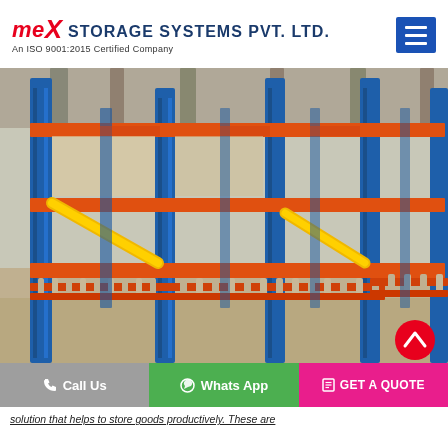MEX STORAGE SYSTEMS PVT. LTD. An ISO 9001:2015 Certified Company
[Figure (photo): Warehouse racking system with blue vertical columns, orange horizontal beams, yellow diagonal braces, and roller conveyor tracks at lower level. Industrial storage facility interior.]
Call Us   Whats App   GET A QUOTE
solution that helps to store goods productively. These are